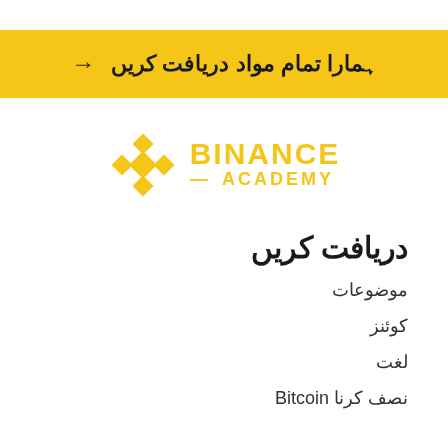ہمارا تمام مواد دریافت کریں →
[Figure (logo): Binance Academy logo with golden diamond shape icon and BINANCE ACADEMY text in gold]
دریافت کریں
موضوعات
کوئنز
لغت
نصف کرنا Bitcoin